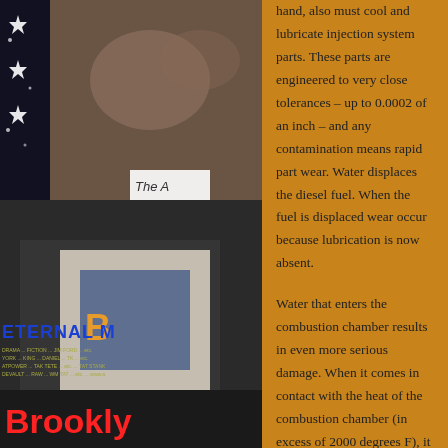[Figure (photo): Left column with movie poster for 'Eternal M' on dark starry background, and a photo of a person wearing a jersey. At the bottom, text 'Brookly' in red on dark background.]
hand, also must cool and lubricate injection system parts. These parts are engineered to very close tolerances – up to 0.0002 of an inch – and any contamination means rapid part wear. Water displaces the diesel fuel. When the fuel is displaced wear occur because lubrication is now absent.
Water that enters the combustion chamber results in even more serious damage. When it comes in contact with the heat of the combustion chamber (in excess of 2000 degrees F), it immediately turns to steam and often explodes the tip of the injector. Water causes corrosion of tanks, lines, injectors, and greatly reduces